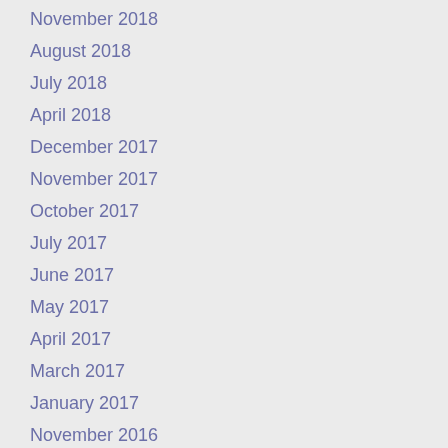November 2018
August 2018
July 2018
April 2018
December 2017
November 2017
October 2017
July 2017
June 2017
May 2017
April 2017
March 2017
January 2017
November 2016